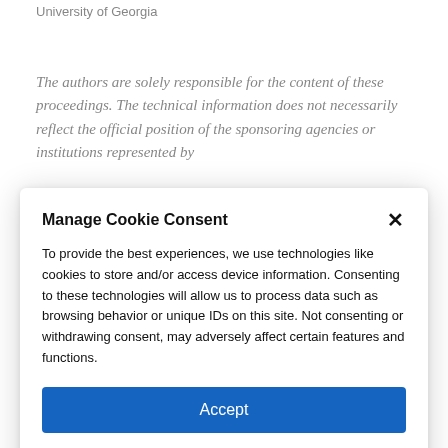University of Georgia
The authors are solely responsible for the content of these proceedings. The technical information does not necessarily reflect the official position of the sponsoring agencies or institutions represented by
Manage Cookie Consent
To provide the best experiences, we use technologies like cookies to store and/or access device information. Consenting to these technologies will allow us to process data such as browsing behavior or unique IDs on this site. Not consenting or withdrawing consent, may adversely affect certain features and functions.
Accept
Cookie Policy  Privacy Statement